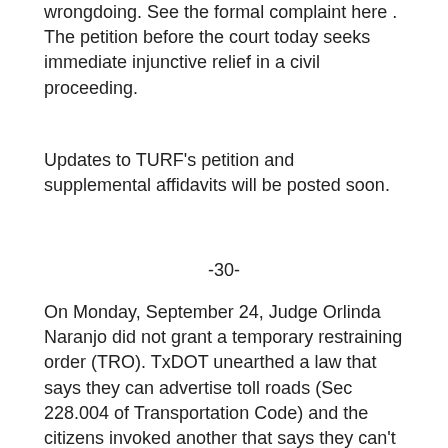wrongdoing. See the formal complaint here . The petition before the court today seeks immediate injunctive relief in a civil proceeding.
Updates to TURF's petition and supplemental affidavits will be posted soon.
-30-
On Monday, September 24, Judge Orlinda Naranjo did not grant a temporary restraining order (TRO). TxDOT unearthed a law that says they can advertise toll roads (Sec 228.004 of Transportation Code) and the citizens invoked another that says they can't (Chapter 556, Texas Government Code). The burden to obtain a TRO is higher than for an injunction.
“TxDOT is waging a one-sided political ad campaign designed to sway public opinion in favor of the policy that puts money in TxDOT’s own coffers. School Boards cannot lobby in favor of their own bond elections, and yet TxDOT cites its own special law to line their own pockets at taxpayers’ expense,” says an incredulous Terri Hall, Founder/Director of TURF.
Hall also notes that TxDOT’s campaign goes beyond mere